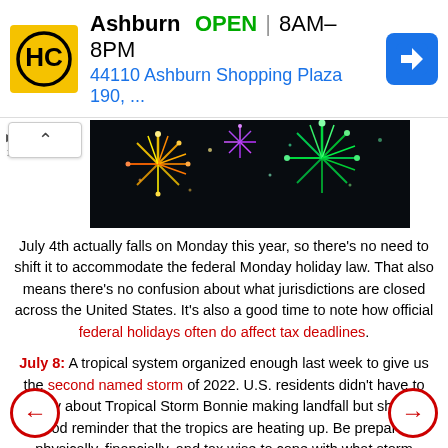[Figure (infographic): Advertisement banner for HC (Hardware/Home store) in Ashburn showing OPEN status, hours 8AM-8PM, address 44110 Ashburn Shopping Plaza 190, and a blue navigation arrow icon]
[Figure (photo): Fireworks display against dark night sky with colorful bursts of yellow, green, and purple fireworks]
July 4th actually falls on Monday this year, so there's no need to shift it to accommodate the federal Monday holiday law. That also means there's no confusion about what jurisdictions are closed across the United States. It's also a good time to note how official federal holidays often do affect tax deadlines.
July 8: A tropical system organized enough last week to give us the second named storm of 2022. U.S. residents didn't have to worry about Tropical Storm Bonnie making landfall but she's a good reminder that the tropics are heating up. Be prepared physically, financially, and tax wise to cope with what storm watchers expect to be another active Atlantic/Gulf of Mexico hurricane season.